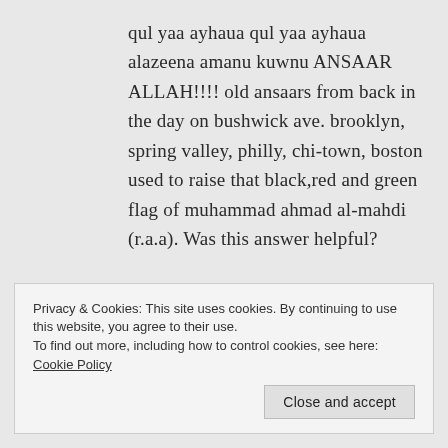qul yaa ayhaua qul yaa ayhaua alazeena amanu kuwnu ANSAAR ALLAH!!!! old ansaars from back in the day on bushwick ave. brooklyn, spring valley, philly, chi-town, boston used to raise that black,red and green flag of muhammad ahmad al-mahdi (r.a.a). Was this answer helpful?
Privacy & Cookies: This site uses cookies. By continuing to use this website, you agree to their use.
To find out more, including how to control cookies, see here: Cookie Policy